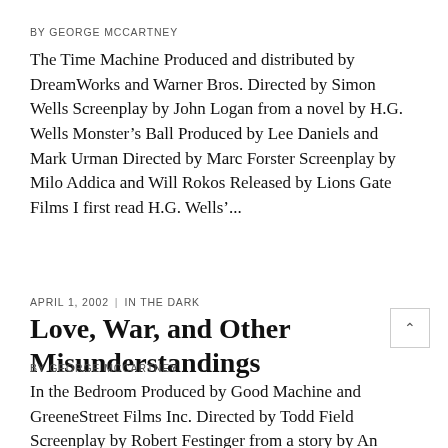BY GEORGE MCCARTNEY
The Time Machine Produced and distributed by DreamWorks and Warner Bros. Directed by Simon Wells Screenplay by John Logan from a novel by H.G. Wells Monster’s Ball Produced by Lee Daniels and Mark Urman Directed by Marc Forster Screenplay by Milo Addica and Will Rokos Released by Lions Gate Films I first read H.G. Wells’...
APRIL 1, 2002  |  IN THE DARK
Love, War, and Other Misunderstandings
BY GEORGE MCCARTNEY
In the Bedroom Produced by Good Machine and GreeneStreet Films Inc. Directed by Todd Field Screenplay by Robert Festinger from a story by An Dubus Released by Good Machine and Miramax F...... Blackhawk Down Produced by Columbia Pictures Corporation and Jerry Bruckheimer Films Directed by